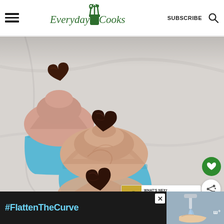Everyday Cooks — SUBSCRIBE
[Figure (photo): Three chocolate cupcakes in blue paper cases, topped with swirled pink-brown buttercream frosting and heart-shaped chocolate brownie pieces on top, photographed on a marble surface]
[Figure (infographic): What's Next card showing Mini Buttercream with thumbnail of green herb balls]
#FlattenTheCurve
[Figure (photo): Ad banner showing hands washing under running tap water]